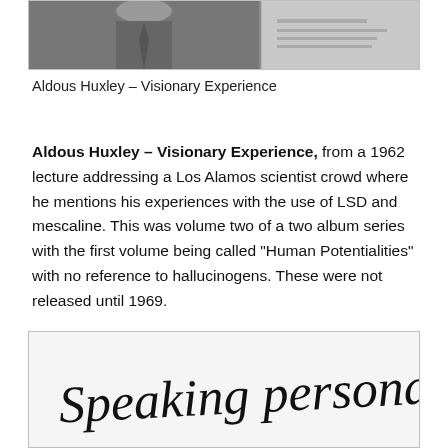[Figure (photo): Black and white photograph of Aldous Huxley, partially visible, cropped at top of page]
Aldous Huxley – Visionary Experience
Aldous Huxley – Visionary Experience, from a 1962 lecture addressing a Los Alamos scientist crowd where he mentions his experiences with the use of LSD and mescaline. This was volume two of a two album series with the first volume being called "Human Potentialities" with no reference to hallucinogens. These were not released until 1969.
[Figure (photo): Image showing cursive handwritten text reading 'Speaking personally...' on a light background]